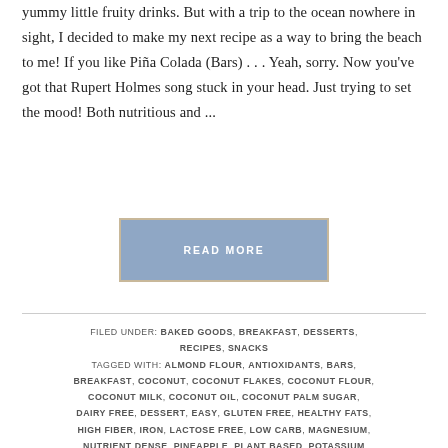yummy little fruity drinks. But with a trip to the ocean nowhere in sight, I decided to make my next recipe as a way to bring the beach to me! If you like Piña Colada (Bars) . . . Yeah, sorry. Now you've got that Rupert Holmes song stuck in your head. Just trying to set the mood! Both nutritious and ...
READ MORE
FILED UNDER: BAKED GOODS, BREAKFAST, DESSERTS, RECIPES, SNACKS
TAGGED WITH: ALMOND FLOUR, ANTIOXIDANTS, BARS, BREAKFAST, COCONUT, COCONUT FLAKES, COCONUT FLOUR, COCONUT MILK, COCONUT OIL, COCONUT PALM SUGAR, DAIRY FREE, DESSERT, EASY, GLUTEN FREE, HEALTHY FATS, HIGH FIBER, IRON, LACTOSE FREE, LOW CARB, MAGNESIUM, NUTRIENT DENSE, PINEAPPLE, PLANT BASED, POTASSIUM